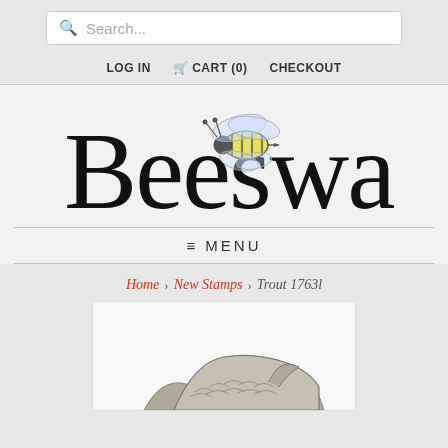Search...
LOG IN   CART (0)   CHECKOUT
[Figure (logo): Beeswax store logo with illustrated bee overlaid on large serif text reading 'Beeswax']
≡ MENU
Home › New Stamps › Trout 1763l
[Figure (photo): Partial product image of a trout rubber stamp, showing the bottom portion of the stamp design]